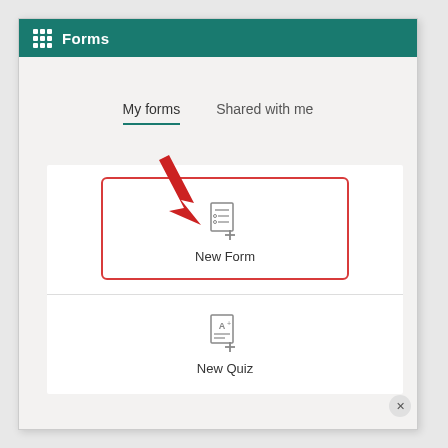Forms
My forms
Shared with me
[Figure (screenshot): Microsoft Forms interface showing 'My forms' and 'Shared with me' tabs, with a red arrow pointing to a highlighted 'New Form' button card, and a 'New Quiz' card below it.]
New Form
New Quiz